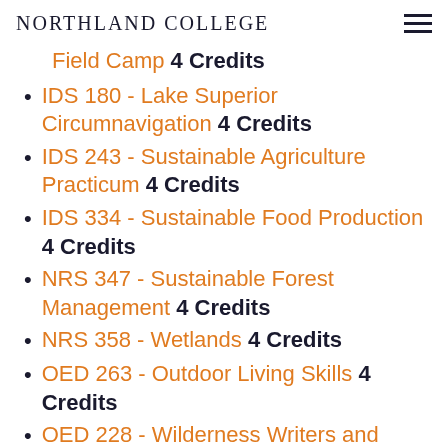NORTHLAND COLLEGE
Field Camp 4 Credits
IDS 180 - Lake Superior Circumnavigation 4 Credits
IDS 243 - Sustainable Agriculture Practicum 4 Credits
IDS 334 - Sustainable Food Production 4 Credits
NRS 347 - Sustainable Forest Management 4 Credits
NRS 358 - Wetlands 4 Credits
OED 263 - Outdoor Living Skills 4 Credits
OED 228 - Wilderness Writers and Philosophers 4 Credits (partial)